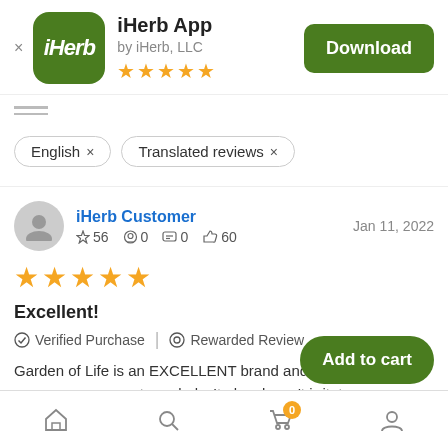[Figure (screenshot): iHerb app store listing screenshot showing app icon, name, download button, review filters, and a customer review]
iHerb App
by iHerb, LLC
★★★★★
English × | Translated reviews ×
iHerb Customer   Jan 11, 2022
☆ 56  📷 0  💬 0  👍 60
★★★★★
Excellent!
✓ Verified Purchase  |  Rewarded Review
Garden of Life is an EXCELLENT brand and I purchase this product regularly. It also doesn't irritate my stomach like other vitamins. I would recommend this for the high quality ingredi...